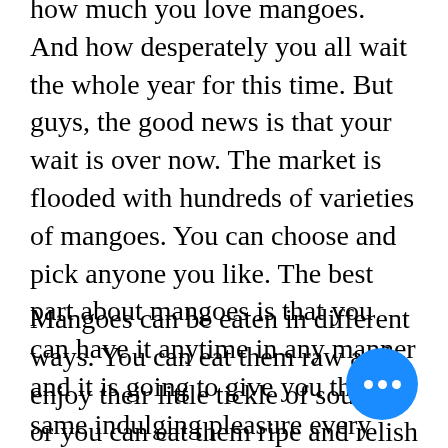how much you love mangoes. And how desperately you all wait the whole year for this time. But guys, the good news is that your wait is over now. The market is flooded with hundreds of varieties of mangoes. You can choose and pick anyone you like. The best part about mangoes is that you can have it anytime in any manner and it is going to give you that same indulging pleasure every time to taste it.
Mangoes can be eaten in different ways. You can eat them raw and enjoy their little tickle of sourness or you can eat them ripe and relish their sweetness. Mangoes are also cooked and eaten as veggies in some parts of India and also used to make pickles. It is a one